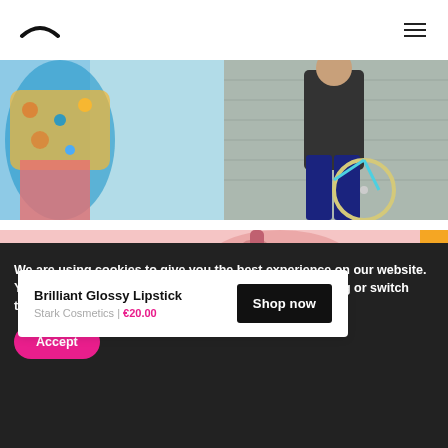Navigation header with logo and hamburger menu
[Figure (photo): Two fashion/lifestyle photos side by side: left shows a person in colorful floral clothing against a blue/teal background, right shows a person in black outfit with a bicycle against a grey brick wall.]
[Figure (photo): Cosmetics advertisement banner with a pink background showing a close-up of lips with glossy pink lipstick and a hand holding a lipstick product.]
Brilliant Glossy Lipstick
Stark Cosmetics | €20.00
Shop now
We are using cookies to give you the best experience on our website.
You can find out more about which cookies we are using or switch them off in settings.
Accept